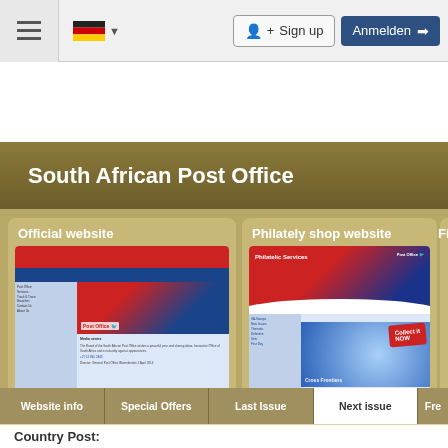Sign up | Anmelden
South African Post Office
[Figure (screenshot): Official website screenshot of South African Post Office website]
Official website
[Figure (screenshot): Philately shop website screenshot]
Philately shop website
First
Website info | Special Offers | Last Issue | Next issue | Fre...
Country Post: